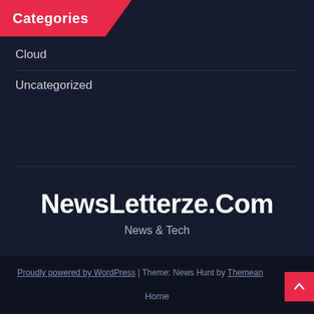Categories
Cloud
Uncategorized
NewsLetterze.Com
News & Tech
Proudly powered by WordPress | Theme: News Hunt by Themeansar   Home